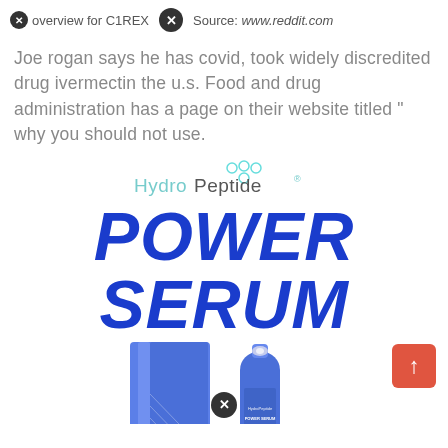overview for C1REX  Source: www.reddit.com
Joe rogan says he has covid, took widely discredited drug ivermectin the u.s. Food and drug administration has a page on their website titled " why you should not use.
[Figure (photo): HydroPeptide advertisement showing 'POWER SERUM' in large bold blue italic text with HydroPeptide logo above and product box and bottle below. A scroll-up button (red) is in the bottom right and a close button at the bottom center.]